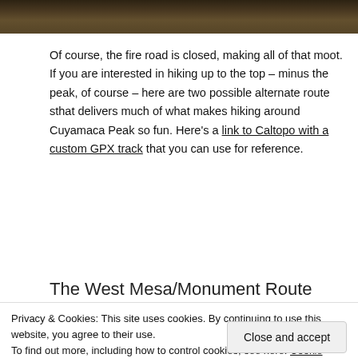[Figure (photo): Partial photo strip at top of page showing a mountain/landscape scene with trees and rocky terrain]
Of course, the fire road is closed, making all of that moot. If you are interested in hiking up to the top – minus the peak, of course – here are two possible alternate route sthat delivers much of what makes hiking around Cuyamaca Peak so fun. Here's a link to Caltopo with a custom GPX track that you can use for reference.
The West Mesa/Monument Route
Privacy & Cookies: This site uses cookies. By continuing to use this website, you agree to their use.
To find out more, including how to control cookies, see here: Cookie Policy